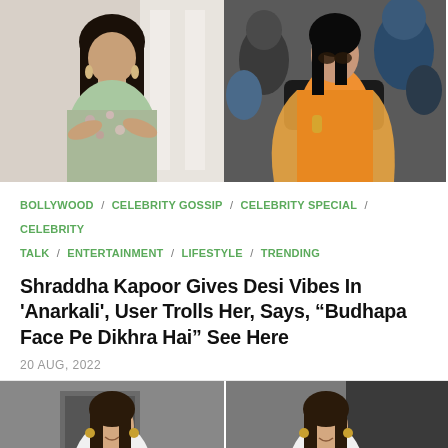[Figure (photo): Two photos side by side: left shows a woman in a floral outfit, right shows a woman in an orange Anarkali suit standing near a car with people around her]
BOLLYWOOD / CELEBRITY GOSSIP / CELEBRITY SPECIAL / CELEBRITY TALK / ENTERTAINMENT / LIFESTYLE / TRENDING
Shraddha Kapoor Gives Desi Vibes In 'Anarkali', User Trolls Her, Says, "Budhapa Face Pe Dikhra Hai" See Here
20 AUG, 2022
[Figure (photo): Two photos side by side showing a young woman in a white blazer and blue top, photographed in two similar poses outdoors]